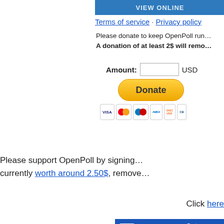Terms of service · Privacy policy
Please donate to keep OpenPoll run... A donation of at least 2$ will remo...
Amount: [input] USD
[Figure (screenshot): Donate button (yellow/gold pill shape) with PayPal credit card icons below (Visa, Mastercard, Maestro, Amex, Discover, CB)]
[Figure (photo): Close-up photo of a cat (like Puss in Boots) with large eyes on green background]
Please support OpenPoll by signing... currently worth around 2.50$, remove...
Click here
[Figure (screenshot): Presearch banner ad - blue background with Presearch logo, decentralized search engine search bar, and 'Protect your privacy online' text]